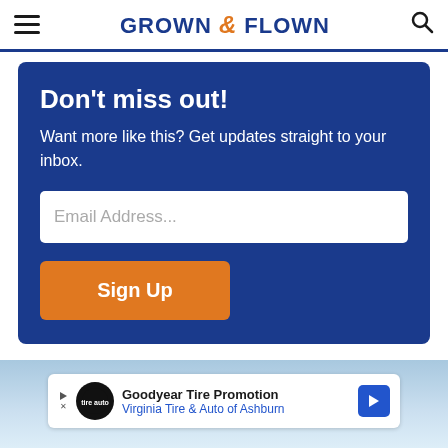GROWN & FLOWN
Don't miss out!
Want more like this? Get updates straight to your inbox.
Email Address...
Sign Up
[Figure (screenshot): Advertisement banner for Goodyear Tire Promotion - Virginia Tire & Auto of Ashburn]